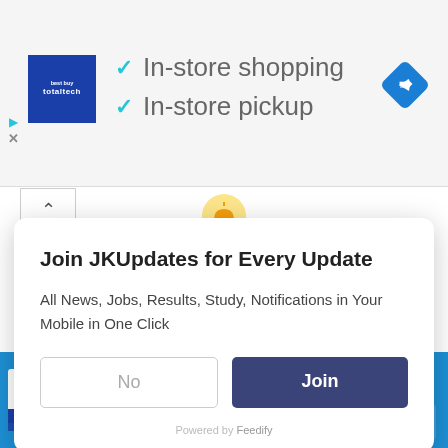[Figure (screenshot): Ad banner with Best Buy Total Tech logo and checkmarks for In-store shopping and In-store pickup, with navigation icon]
✓ In-store shopping
✓ In-store pickup
Join JKUpdates for Every Update
All News, Jobs, Results, Study, Notifications in Your Mobile in One Click
No
Join
Powered by Feedify
[Figure (screenshot): IBPS Institute of Banking Personnel Selection banner at bottom]